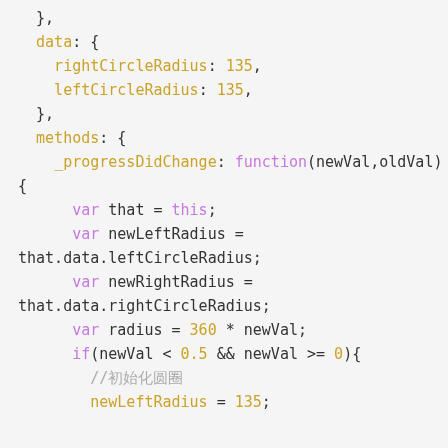Code snippet showing JavaScript/Vue.js with data properties rightCircleRadius and leftCircleRadius, methods block with _progressDidChange function containing var declarations and if statement.